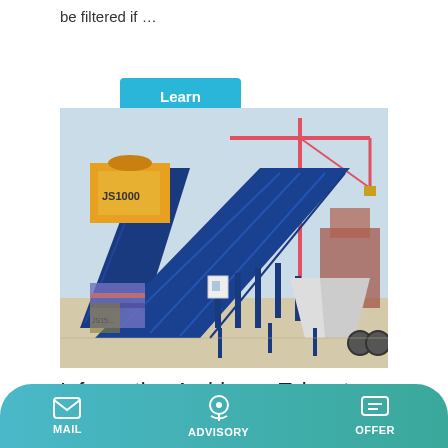be filtered if …
Learn More
[Figure (photo): Industrial concrete mixing plant (JS1000) with blue steel frame conveyor belt structure, yellow mixer unit, and tower crane in background at a construction/port site.]
Information Archives - Talenet Group
MAIL   ADVISORY   OFFER